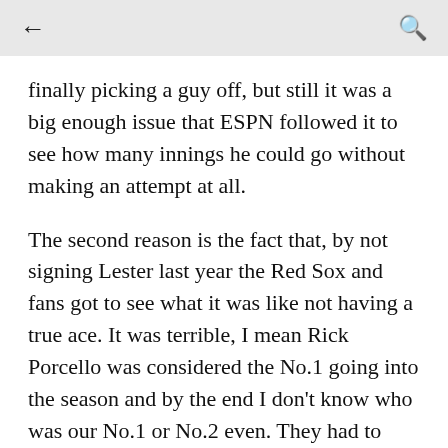← (back) | 🔍 (search)
finally picking a guy off, but still it was a big enough issue that ESPN followed it to see how many innings he could go without making an attempt at all.
The second reason is the fact that, by not signing Lester last year the Red Sox and fans got to see what it was like not having a true ace. It was terrible, I mean Rick Porcello was considered the No.1 going into the season and by the end I don't know who was our No.1 or No.2 even. They had to make a move this off season and even if they